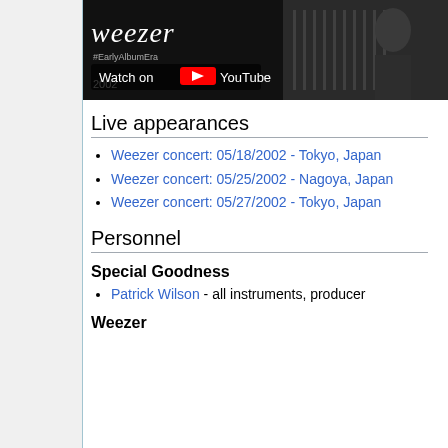[Figure (screenshot): YouTube video thumbnail showing Weezer concert footage with 'Watch on YouTube' overlay button, year 2002 shown]
Live appearances
Weezer concert: 05/18/2002 - Tokyo, Japan
Weezer concert: 05/25/2002 - Nagoya, Japan
Weezer concert: 05/27/2002 - Tokyo, Japan
Personnel
Special Goodness
Patrick Wilson - all instruments, producer
Weezer